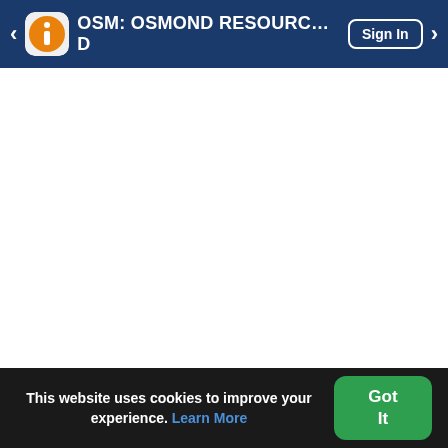OSM: OSMOND RESOURCES LIMITED  Sign In
This website uses cookies to improve your experience. Learn More
Got It